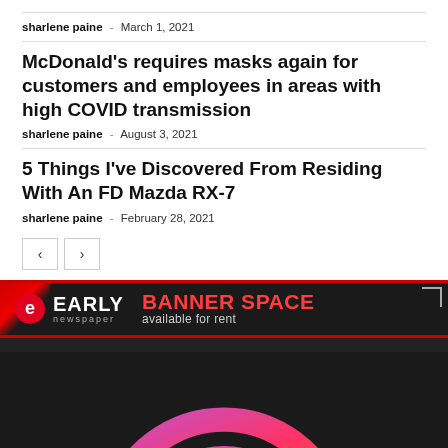sharlene paine  -  March 1, 2021
McDonald’s requires masks again for customers and employees in areas with high COVID transmission
sharlene paine  -  August 3, 2021
5 Things I’ve Discovered From Residing With An FD Mazda RX-7
sharlene paine  -  February 28, 2021
[Figure (logo): Early Newspaper banner ad with logo and 'BANNER SPACE available for rent' text]
[Figure (logo): Dark background section with circular gradient logo (pink/red/purple arc on dark background)]